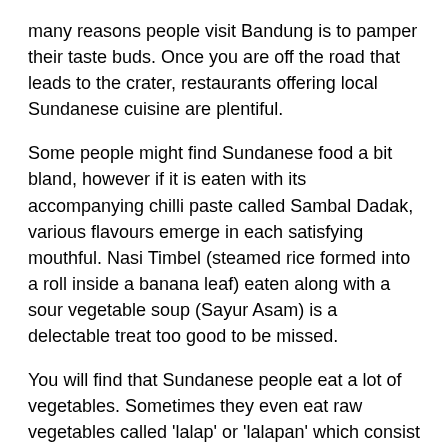many reasons people visit Bandung is to pamper their taste buds. Once you are off the road that leads to the crater, restaurants offering local Sundanese cuisine are plentiful.
Some people might find Sundanese food a bit bland, however if it is eaten with its accompanying chilli paste called Sambal Dadak, various flavours emerge in each satisfying mouthful. Nasi Timbel (steamed rice formed into a roll inside a banana leaf) eaten along with a sour vegetable soup (Sayur Asam) is a delectable treat too good to be missed.
You will find that Sundanese people eat a lot of vegetables. Sometimes they even eat raw vegetables called 'lalap' or 'lalapan' which consist of a mixture of cucumbers, tomatoes, coriander leaves, eggplants, cabbages and lettuce. Lalapan is usually accompanied by Sambal Dadak.
To try an assortment of typical daily Sundanese cuisine, one should try a slice of Jambal (salted fish), Gepuk